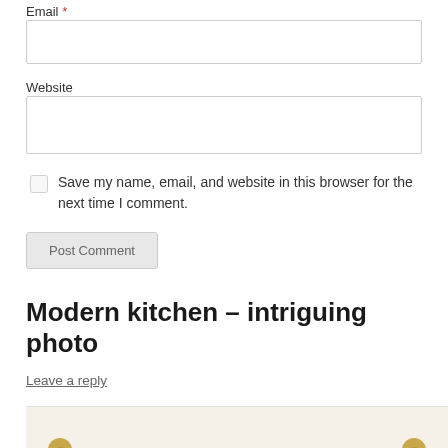Email *
Website
Save my name, email, and website in this browser for the next time I comment.
Post Comment
Modern kitchen – intriguing photo
Leave a reply
[Figure (photo): Bottom portion of white kitchen cabinet with two gold/brass round drawer knobs visible, with a shelf or countertop at the bottom edge]